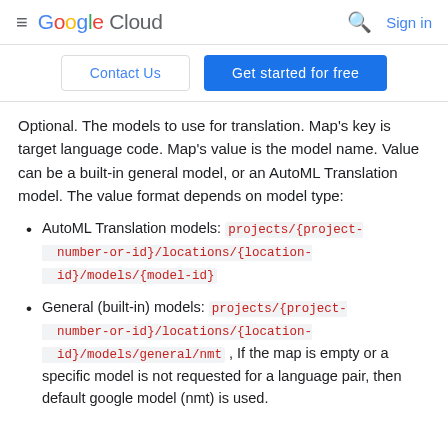≡  Google Cloud   🔍  Sign in
Contact Us    Get started for free
Optional. The models to use for translation. Map's key is target language code. Map's value is the model name. Value can be a built-in general model, or an AutoML Translation model. The value format depends on model type:
AutoML Translation models: projects/{project-number-or-id}/locations/{location-id}/models/{model-id}
General (built-in) models: projects/{project-number-or-id}/locations/{location-id}/models/general/nmt , If the map is empty or a specific model is not requested for a language pair, then default google model (nmt) is used.